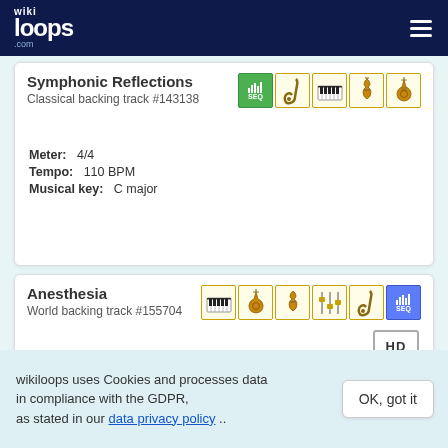[Figure (logo): wikiloops.com logo in white on dark navy header with hamburger menu icon]
Symphonic Reflections
Classical backing track #143138
Meter: 4/4
Tempo: 110 BPM
Musical key: C major
Anesthesia
World backing track #155704
wikiloops uses Cookies and processes data in compliance with the GDPR, as stated in our data privacy policy ..